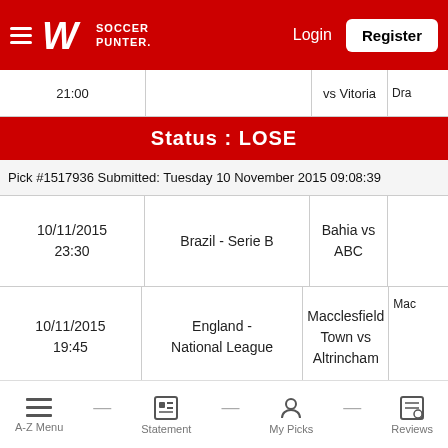Soccer Punter — Login | Register
| Date/Time | League | Match | Pick |
| --- | --- | --- | --- |
| 21:00 |  | vs Vitoria | Dra... |
| 10/11/2015 23:30 | Brazil - Serie B | Bahia vs ABC |  |
| 10/11/2015 19:45 | England - National League | Macclesfield Town vs Altrincham | Mac... |
| 10/11/2015 19:45 | England - National League | Cheltenham Town vs | Che... |
Status : LOSE
Pick #1517936 Submitted: Tuesday 10 November 2015 09:08:39
A-Z Menu — Statement — My Picks — Reviews